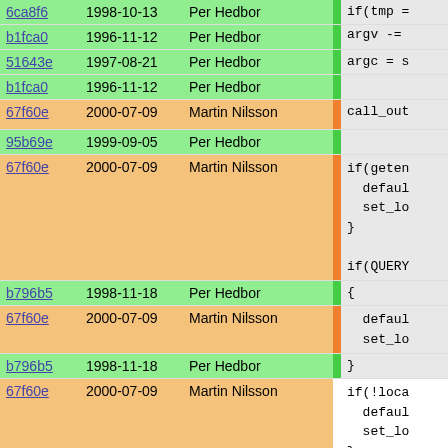| hash | date | author |  | code |
| --- | --- | --- | --- | --- |
| 6ca8f6 | 1998-10-13 | Per Hedbor |  | if(tmp = |
| b1fca0 | 1996-11-12 | Per Hedbor |  | argv -= |
| 51643e | 1997-08-21 | Per Hedbor |  | argc = s |
| b1fca0 | 1996-11-12 | Per Hedbor |  |  |
| 67f60e | 2000-07-09 | Martin Nilsson |  | call_out |
| 95b69e | 1999-09-05 | Per Hedbor |  |  |
| 67f60e | 2000-07-09 | Martin Nilsson |  | if(geten
  defaul
  set_lo
}

if(QUERY |
| b796b5 | 1998-11-18 | Per Hedbor |  | { |
| 67f60e | 2000-07-09 | Martin Nilsson |  | defaul
  set_lo |
| b796b5 | 1998-11-18 | Per Hedbor |  | } |
| 67f60e | 2000-07-09 | Martin Nilsson |  | if(!loca
  defaul
  set_lo
} |